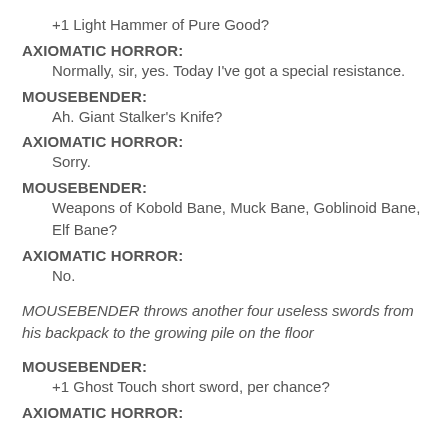+1 Light Hammer of Pure Good?
AXIOMATIC HORROR:
Normally, sir, yes. Today I've got a special resistance.
MOUSEBENDER:
Ah. Giant Stalker's Knife?
AXIOMATIC HORROR:
Sorry.
MOUSEBENDER:
Weapons of Kobold Bane, Muck Bane, Goblinoid Bane, Elf Bane?
AXIOMATIC HORROR:
No.
MOUSEBENDER throws another four useless swords from his backpack to the growing pile on the floor
MOUSEBENDER:
+1 Ghost Touch short sword, per chance?
AXIOMATIC HORROR: